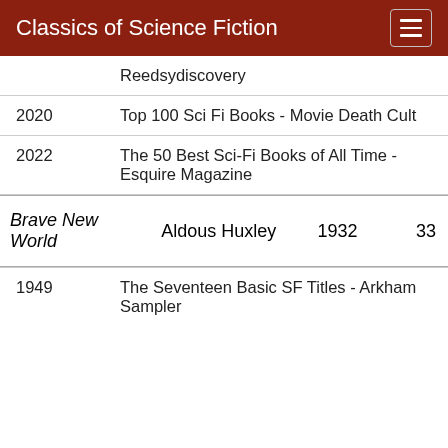Classics of Science Fiction
| Year | List |
| --- | --- |
|  | Reedsydiscovery |
| 2020 | Top 100 Sci Fi Books - Movie Death Cult |
| 2022 | The 50 Best Sci-Fi Books of All Time - Esquire Magazine |
| Title | Author | Year | Count |
| --- | --- | --- | --- |
| Brave New World | Aldous Huxley | 1932 | 33 |
| Year | List |
| --- | --- |
| 1949 | The Seventeen Basic SF Titles - Arkham Sampler |